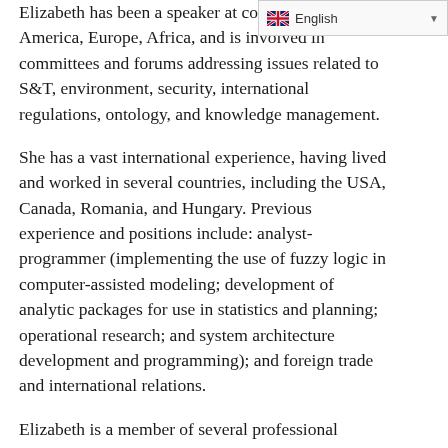[Figure (other): Language selector dropdown showing English with UK flag]
Elizabeth has been a speaker at conferences in North America, Europe, Africa, and is involved in committees and forums addressing issues related to S&T, environment, security, international regulations, ontology, and knowledge management.
She has a vast international experience, having lived and worked in several countries, including the USA, Canada, Romania, and Hungary. Previous experience and positions include: analyst-programmer (implementing the use of fuzzy logic in computer-assisted modeling; development of analytic packages for use in statistics and planning; operational research; and system architecture development and programming); and foreign trade and international relations.
Elizabeth is a member of several professional associations, including: World Futures Studies Federation, Global Futures Forum, World Future Society, Foresight Europe Network, Millennia 2015, and Foresight Canada. She is a graduate of